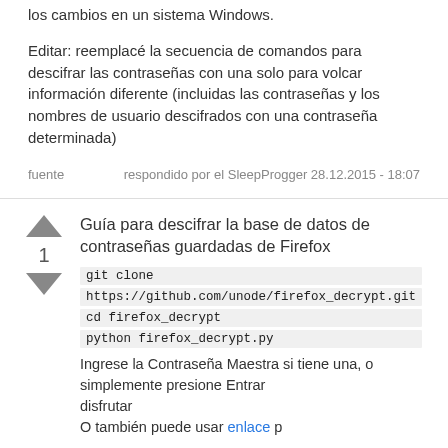los cambios en un sistema Windows.
Editar: reemplacé la secuencia de comandos para descifrar las contraseñas con una solo para volcar información diferente (incluidas las contraseñas y los nombres de usuario descifrados con una contraseña determinada)
fuente   respondido por el SleepProgger 28.12.2015 - 18:07
Guía para descifrar la base de datos de contraseñas guardadas de Firefox
git clone
https://github.com/unode/firefox_decrypt.git
cd firefox_decrypt
python firefox_decrypt.py
Ingrese la Contraseña Maestra si tiene una, o simplemente presione Entrar
disfrutar
O también puede usar enlace p